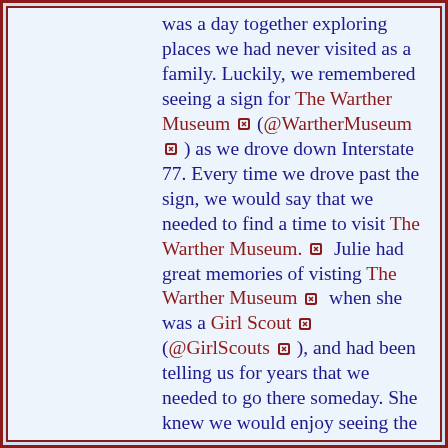was a day together exploring places we had never visited as a family. Luckily, we remembered seeing a sign for The Warther Museum (@WartherMuseum ) as we drove down Interstate 77. Every time we drove past the sign, we would say that we needed to find a time to visit The Warther Museum.  Julie had great memories of visting The Warther Museum  when she was a Girl Scout  (@GirlScouts ), and had been telling us for years that we needed to go there someday. She knew we would enjoy seeing the carvings, which included very detailed models of trains.

As we explored Google Maps for other places to visit in Ohio's Tuscarawas County,  we decided to